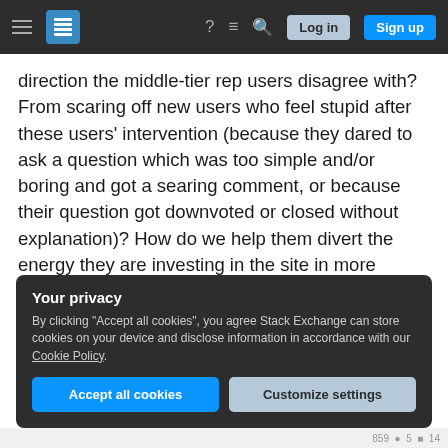Stack Exchange navigation bar with hamburger menu, logo, help, chat, search icons, Log in and Sign up buttons
direction the middle-tier rep users disagree with? From scaring off new users who feel stupid after these users' intervention (because they dared to ask a question which was too simple and/or boring and got a searing comment, or because their question got downvoted or closed without explanation)? How do we help them divert the energy they are investing in the site in more community-oriented behavior?
problem-users
user-behavior
stack-exchange
Your privacy
By clicking "Accept all cookies", you agree Stack Exchange can store cookies on your device and disclose information in accordance with our Cookie Policy.
Accept all cookies
Customize settings